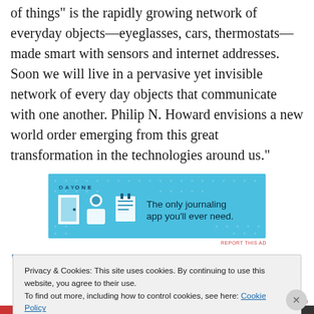of things" is the rapidly growing network of everyday objects—eyeglasses, cars, thermostats—made smart with sensors and internet addresses. Soon we will live in a pervasive yet invisible network of every day objects that communicate with one another. Philip N. Howard envisions a new world order emerging from this great transformation in the technologies around us."
[Figure (screenshot): Advertisement banner for Day One journaling app with blue background, icons of a door, person, and notepad, with text 'The only journaling app you'll ever need.']
"Philip N. Howard calls this ...
Privacy & Cookies: This site uses cookies. By continuing to use this website, you agree to their use.
To find out more, including how to control cookies, see here: Cookie Policy
Close and accept